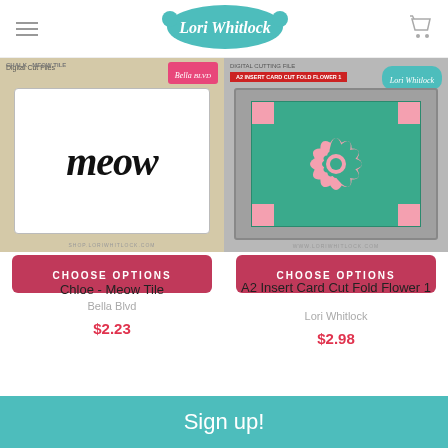Lori Whitlock
[Figure (photo): Product image of Chloe - Meow Tile digital cut file showing 'meow' in black script on white background with tan packaging]
CHOOSE OPTIONS
Chloe - Meow Tile
Bella Blvd
$2.23
[Figure (photo): Product image of A2 Insert Card Cut Fold Flower 1 - teal card with flower cutout design revealing pink layers, on gray background]
CHOOSE OPTIONS
A2 Insert Card Cut Fold Flower 1
Lori Whitlock
$2.98
Sign up!